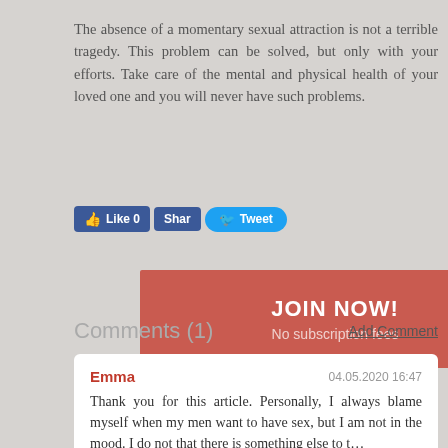The absence of a momentary sexual attraction is not a terrible tragedy. This problem can be solved, but only with your efforts. Take care of the mental and physical health of your loved one and you will never have such problems.
[Figure (other): Social sharing buttons: Facebook Like 0, Share, and Tweet buttons]
[Figure (other): Red JOIN NOW! button with text 'No subscription fees']
Comments (1)
Add Comment
Emma  04.05.2020 16:47  Thank you for this article. Personally, I always blame myself when my men want to have sex, but I am not in the mood. I do not that there is something else to t...